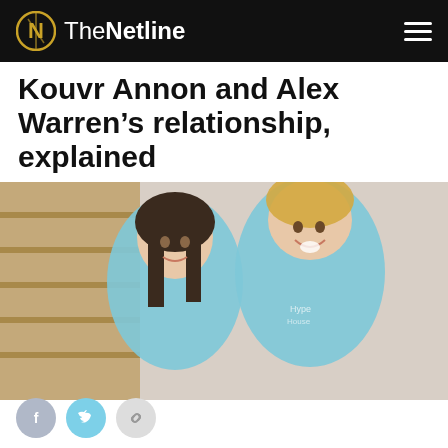TheNetline
Kouvr Annon and Alex Warren's relationship, explained
BY KATE MARIN – ON MAR 13, 2020 IN THE R&L
[Figure (photo): Photo of two young people (Kouvr Annon and Alex Warren) wearing matching light blue hoodies, smiling, sitting on stairs]
Social share buttons: Facebook, Twitter, Link